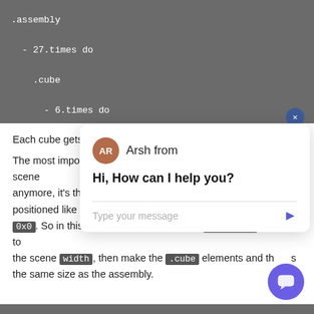[Figure (screenshot): Code block with dark gray background showing assembly code: .assembly, - 27.times do, .cube, - 6.times do, with partial next line visible]
Each cube gets
The most important one is that now the cubes parent isn't the scene anymore, it's th positioned like 0x0. So in this case, we need to size the .assembly relative to the scene width, then make the .cube elements and th s the same size as the assembly.
[Figure (screenshot): Chat overlay popup from 'Arsh from' with avatar AR in brown circle. Shows message 'Hi, How can I help you?' and a text input field with send arrow button.]